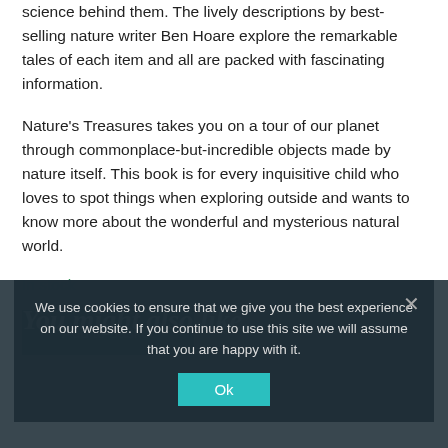science behind them. The lively descriptions by best-selling nature writer Ben Hoare explore the remarkable tales of each item and all are packed with fascinating information.
Nature's Treasures takes you on a tour of our planet through commonplace-but-incredible objects made by nature itself. This book is for every inquisitive child who loves to spot things when exploring outside and wants to know more about the wonderful and mysterious natural world.
In stock
[Figure (screenshot): Black 'Add to basket' button]
You might also like...
We use cookies to ensure that we give you the best experience on our website. If you continue to use this site we will assume that you are happy with it.
Ok